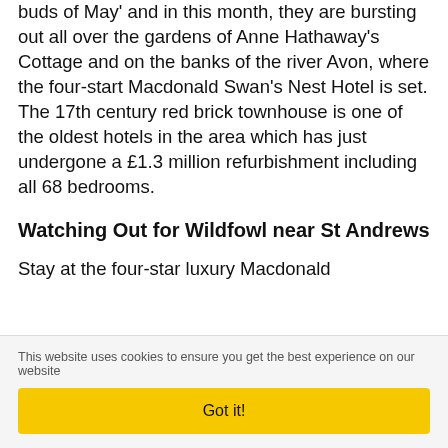buds of May' and in this month, they are bursting out all over the gardens of Anne Hathaway's Cottage and on the banks of the river Avon, where the four-start Macdonald Swan's Nest Hotel is set. The 17th century red brick townhouse is one of the oldest hotels in the area which has just undergone a £1.3 million refurbishment including all 68 bedrooms.
Watching Out for Wildfowl near St Andrews
Stay at the four-star luxury Macdonald
This website uses cookies to ensure you get the best experience on our website
Got it!